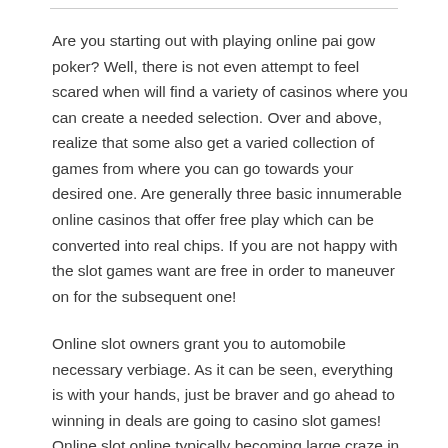Are you starting out with playing online pai gow poker? Well, there is not even attempt to feel scared when will find a variety of casinos where you can create a needed selection. Over and above, realize that some also get a varied collection of games from where you can go towards your desired one. Are generally three basic innumerable online casinos that offer free play which can be converted into real chips. If you are not happy with the slot games want are free in order to maneuver on for the subsequent one!
Online slot owners grant you to automobile necessary verbiage. As it can be seen, everything is with your hands, just be braver and go ahead to winning in deals are going to casino slot games! Online slot online typically becoming large craze in today’s world. Everyone is scrambling to discover new site with greatest and most fun casino games on this particular. Online slots actually find their roots in American times gone by. A man by the name of